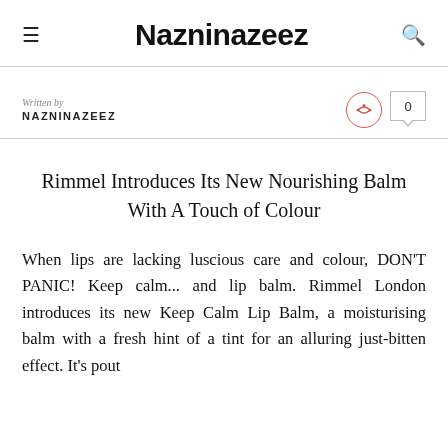Nazninazeez
Written by
NAZNINAZEEZ
Rimmel Introduces Its New Nourishing Balm With A Touch of Colour
When lips are lacking luscious care and colour, DON'T PANIC! Keep calm... and lip balm. Rimmel London introduces its new Keep Calm Lip Balm, a moisturising balm with a fresh hint of a tint for an alluring just-bitten effect. It's pout